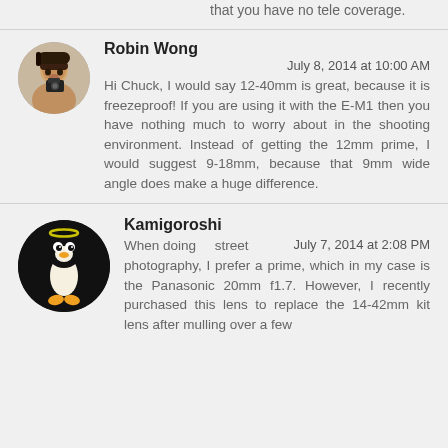...mm, just in case, and I see that you have no tele coverage.
Robin Wong
July 8, 2014 at 10:00 AM
Hi Chuck, I would say 12-40mm is great, because it is freezeproof! If you are using it with the E-M1 then you have nothing much to worry about in the shooting environment. Instead of getting the 12mm prime, I would suggest 9-18mm, because that 9mm wide angle does make a huge difference.
Kamigoroshi
July 7, 2014 at 2:08 PM
When doing street photography, I prefer a prime, which in my case is the Panasonic 20mm f1.7. However, I recently purchased this lens to replace the 14-42mm kit lens after mulling over a few